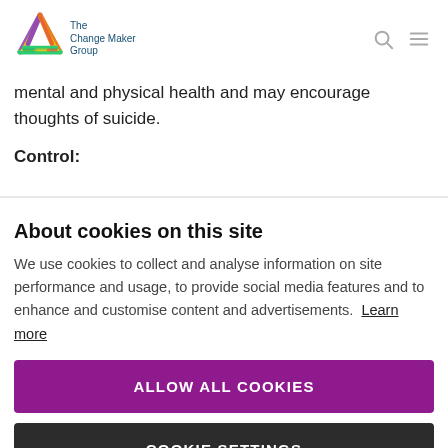The Change Maker Group
mental and physical health and may encourage thoughts of suicide.
Control:
About cookies on this site
We use cookies to collect and analyse information on site performance and usage, to provide social media features and to enhance and customise content and advertisements. Learn more
ALLOW ALL COOKIES
COOKIE SETTINGS